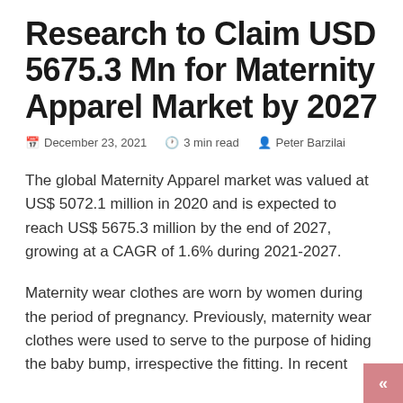Research to Claim USD 5675.3 Mn for Maternity Apparel Market by 2027
📅 December 23, 2021   🕐 3 min read   👤 Peter Barzilai
The global Maternity Apparel market was valued at US$ 5072.1 million in 2020 and is expected to reach US$ 5675.3 million by the end of 2027, growing at a CAGR of 1.6% during 2021-2027.
Maternity wear clothes are worn by women during the period of pregnancy. Previously, maternity wear clothes were used to serve to the purpose of hiding the baby bump, irrespective the fitting. In recent